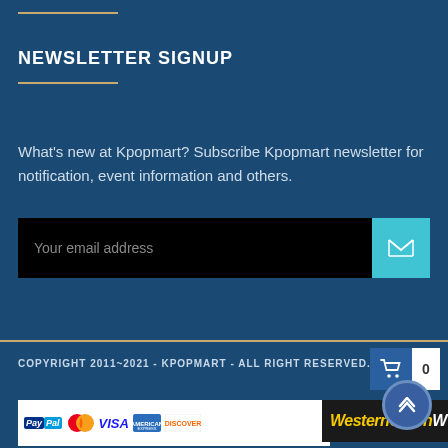NEWSLETTER SIGNUP
What's new at Kpopmart? Subscribe Kpopmart newsletter for notification, event information and others.
[Figure (other): Email subscription form with black input field showing placeholder text 'Your email address' and a cyan submit button with envelope icon]
COPYRIGHT 2011~2021 - KPOPMART - ALL RIGHT RESERVED.
[Figure (logo): Payment logos: PayPal, MasterCard, Visa, American Express, Discover, Western Union]